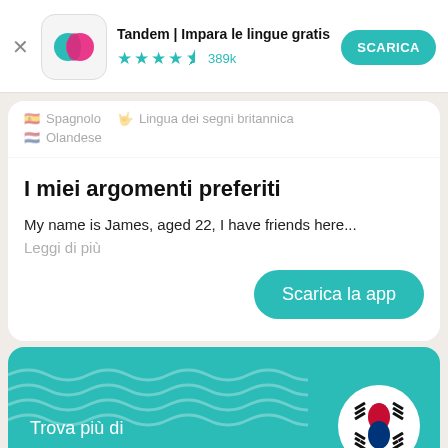[Figure (screenshot): App banner: Tandem language learning app icon (teal and pink overlapping speech bubbles), app name 'Tandem | Impara le lingue gratis', star rating 4.5 with 389k reviews, and a teal 'SCARICA' button]
Spagnolo  Lingua dei segni britannica
Olandese
I miei argomenti preferiti
My name is James, aged 22, I have friends here...
Leggi di più
Scarica la app
[Figure (illustration): Teal card with wave pattern, text 'Trova più di' and Korean flag circle on the right]